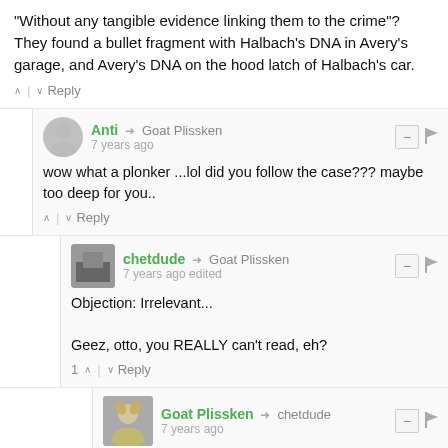"Without any tangible evidence linking them to the crime"? They found a bullet fragment with Halbach's DNA in Avery's garage, and Avery's DNA on the hood latch of Halbach's car.
Anti → Goat Plissken
7 years ago
wow what a plonker ...lol did you follow the case??? maybe too deep for you..
chetdude → Goat Plissken
7 years ago edited
Objection: Irrelevant...

Geez, otto, you REALLY can't read, eh?
Goat Plissken → chetdude
7 years ago
Hedges misrepresentations, gullibility and gross ignorance are relevant.